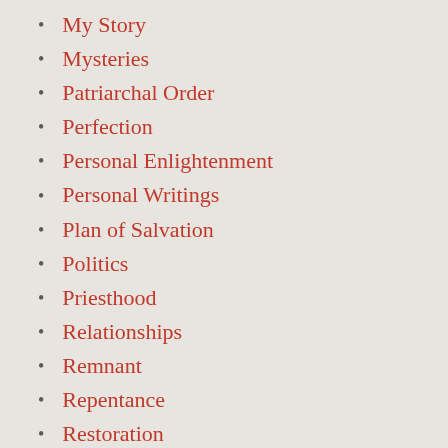My Story
Mysteries
Patriarchal Order
Perfection
Personal Enlightenment
Personal Writings
Plan of Salvation
Politics
Priesthood
Relationships
Remnant
Repentance
Restoration
Revelation
Same-sex Marriage
Science